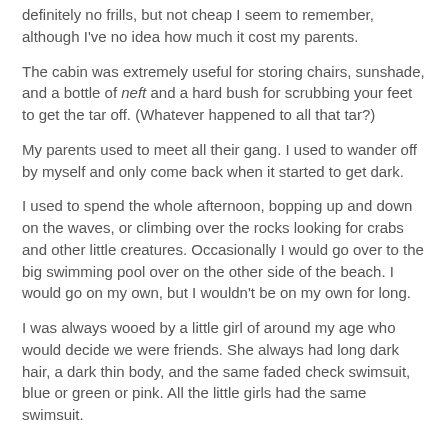definitely no frills, but not cheap I seem to remember, although I've no idea how much it cost my parents.
The cabin was extremely useful for storing chairs, sunshade, and a bottle of neft and a hard bush for scrubbing your feet to get the tar off. (Whatever happened to all that tar?)
My parents used to meet all their gang. I used to wander off by myself and only come back when it started to get dark.
I used to spend the whole afternoon, bopping up and down on the waves, or climbing over the rocks looking for crabs and other little creatures. Occasionally I would go over to the big swimming pool over on the other side of the beach. I would go on my own, but I wouldn't be on my own for long.
I was always wooed by a little girl of around my age who would decide we were friends. She always had long dark hair, a dark thin body, and the same faded check swimsuit, blue or green or pink. All the little girls had the same swimsuit.